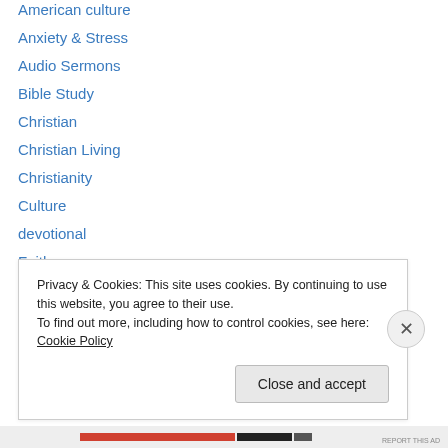American culture
Anxiety & Stress
Audio Sermons
Bible Study
Christian
Christian Living
Christianity
Culture
devotional
Faith
God
Gospel
Health
Holidays
Privacy & Cookies: This site uses cookies. By continuing to use this website, you agree to their use. To find out more, including how to control cookies, see here: Cookie Policy
Close and accept